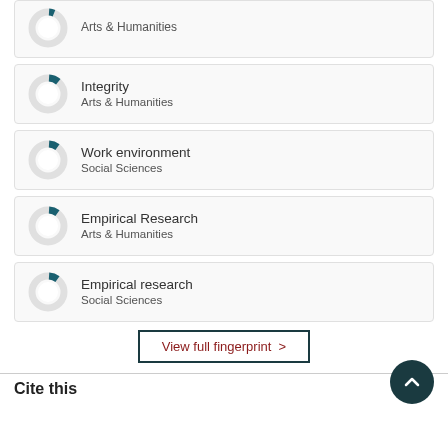[Figure (donut-chart): Partial donut chart card for Arts & Humanities (top, cut off)]
[Figure (donut-chart): Small donut chart with teal slice ~10%, Integrity, Arts & Humanities]
[Figure (donut-chart): Small donut chart with teal slice ~10%, Work environment, Social Sciences]
[Figure (donut-chart): Small donut chart with teal slice ~10%, Empirical Research, Arts & Humanities]
[Figure (donut-chart): Small donut chart with teal slice ~10%, Empirical research, Social Sciences]
View full fingerprint >
Cite this